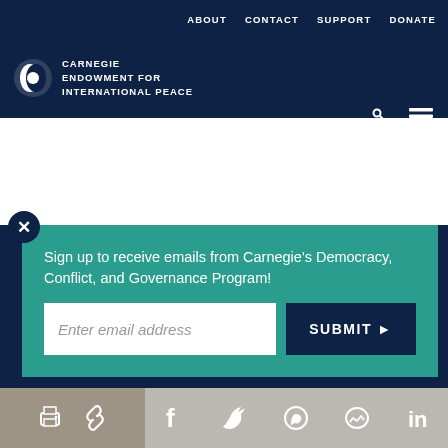ABOUT   CONTACT   SUPPORT   DONATE
[Figure (logo): Carnegie Endowment for International Peace logo with circular icon and white text on dark navy background]
some that “Islam is the solution.”
Sign up to receive emails from Carnegie’s Democracy, Conflict, and Governance Program!
Enter email address
SUBMIT ►
our cookie policy.
Social share icons: print, link, Facebook, Twitter, WhatsApp, Messenger, LinkedIn